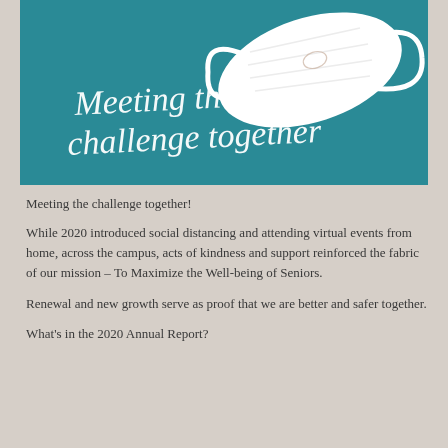[Figure (photo): Teal/blue background with a white face mask and cursive white text reading 'Meeting the challenge together']
Meeting the challenge together!
While 2020 introduced social distancing and attending virtual events from home, across the campus, acts of kindness and support reinforced the fabric of our mission – To Maximize the Well-being of Seniors.
Renewal and new growth serve as proof that we are better and safer together.
What's in the 2020 Annual Report?